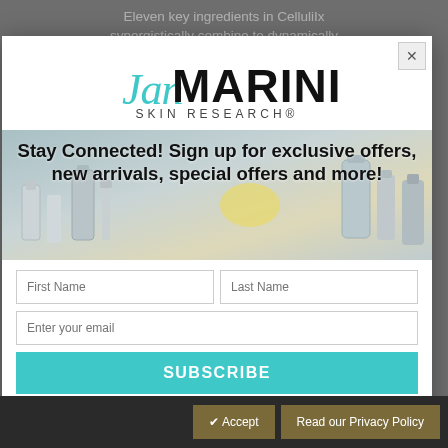Eleven key ingredients in CelluliX synergistically combine to dynamically
[Figure (logo): Jan Marini Skin Research logo with teal script 'Jan' and bold black 'MARINI' text, 'SKIN RESEARCH®' below]
Stay Connected! Sign up for exclusive offers, new arrivals, special offers and more!
First Name
Last Name
Enter your email
SUBSCRIBE
You may opt-out at any time by clicking the unsubscribe link at the bottom of emails, or by emailing us at info@janmarini.com. See our Privacy Policy.
✔ Accept
Read our Privacy Policy